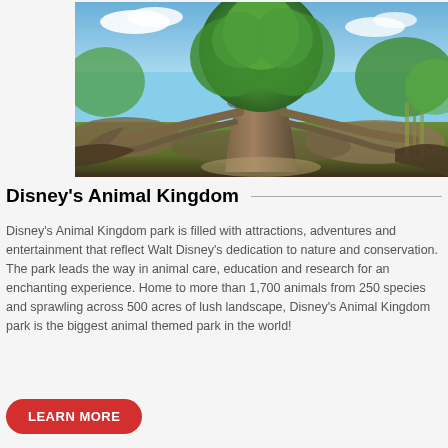[Figure (photo): Outdoor photo of Disney's Animal Kingdom Tree of Life — a massive sculpted tree with lush green foliage and carved animal figures at its base, surrounded by tropical plants and rocks under a blue sky.]
Disney's Animal Kingdom
Disney's Animal Kingdom park is filled with attractions, adventures and entertainment that reflect Walt Disney's dedication to nature and conservation. The park leads the way in animal care, education and research for an enchanting experience. Home to more than 1,700 animals from 250 species and sprawling across 500 acres of lush landscape, Disney's Animal Kingdom park is the biggest animal themed park in the world!
LEARN MORE